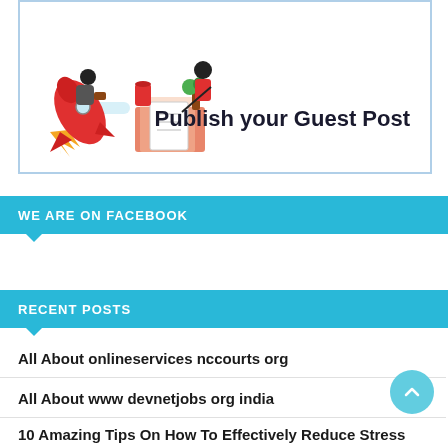[Figure (illustration): Guest post promotional banner with cartoon rocket man on left and person writing at desk on right, with text 'Publish your Guest Post']
WE ARE ON FACEBOOK
RECENT POSTS
All About onlineservices nccourts org
All About www devnetjobs org india
10 Amazing Tips On How To Effectively Reduce Stress And Anxiety?